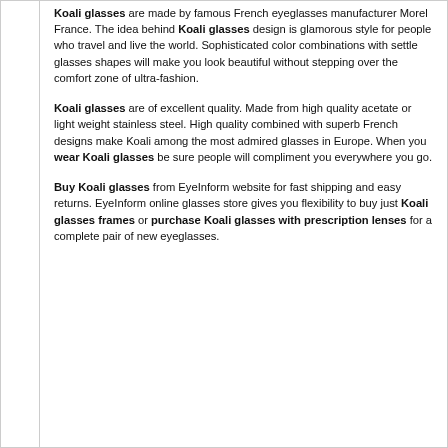Koali glasses are made by famous French eyeglasses manufacturer Morel France. The idea behind Koali glasses design is glamorous style for people who travel and live the world. Sophisticated color combinations with settle glasses shapes will make you look beautiful without stepping over the comfort zone of ultra-fashion.
Koali glasses are of excellent quality. Made from high quality acetate or light weight stainless steel. High quality combined with superb French designs make Koali among the most admired glasses in Europe. When you wear Koali glasses be sure people will compliment you everywhere you go.
Buy Koali glasses from EyeInform website for fast shipping and easy returns. EyeInform online glasses store gives you flexibility to buy just Koali glasses frames or purchase Koali glasses with prescription lenses for a complete pair of new eyeglasses.